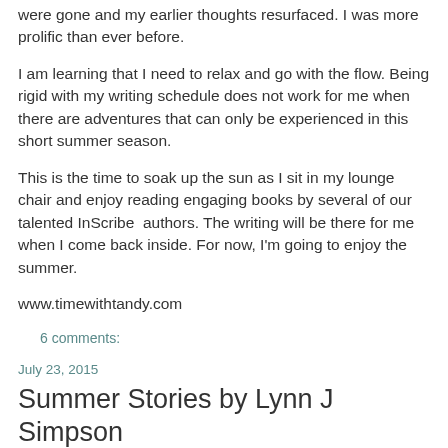were gone and my earlier thoughts resurfaced. I was more prolific than ever before.
I am learning that I need to relax and go with the flow. Being rigid with my writing schedule does not work for me when there are adventures that can only be experienced in this short summer season.
This is the time to soak up the sun as I sit in my lounge chair and enjoy reading engaging books by several of our talented InScribe authors. The writing will be there for me when I come back inside. For now, I'm going to enjoy the summer.
www.timewithtandy.com
6 comments:
Share
July 23, 2015
Summer Stories by Lynn J Simpson